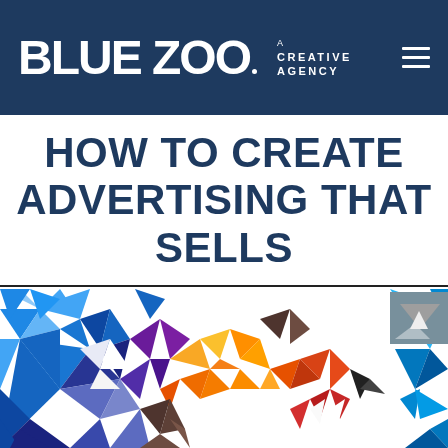BLUE ZOO A CREATIVE AGENCY
HOW TO CREATE ADVERTISING THAT SELLS
[Figure (illustration): Colorful geometric polygon art lion roaring, facing right, in blue, white, yellow, orange and brown tones, with partial second geometric animal visible at right edge]